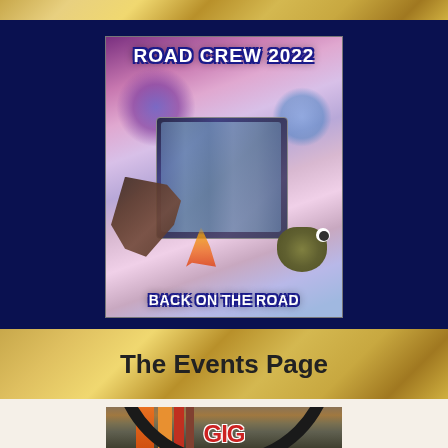[Figure (illustration): Fantasy/psychedelic album art for 'Road Crew 2022 - Back on the Road'. Features a decorated bus/vehicle, dragons, fantasy creatures, a toad, and a castle in a surreal landscape with purple and pink tones. Text at top reads 'ROAD CREW 2022' and bottom reads 'BACK ON THE ROAD' in bold outlined white letters.]
The Events Page
[Figure (logo): Partial circular logo in orange, red, and brown colors with stylized text at the bottom, only top portion visible.]